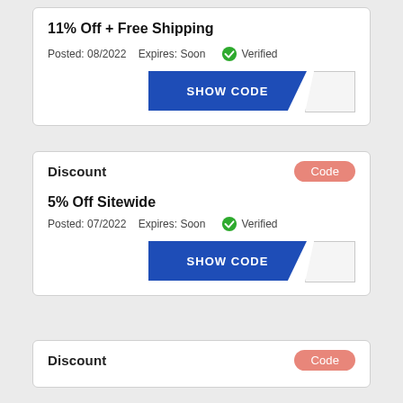11% Off + Free Shipping
Posted: 08/2022   Expires: Soon   ✓ Verified
SHOW CODE
Discount   Code
5% Off Sitewide
Posted: 07/2022   Expires: Soon   ✓ Verified
SHOW CODE
Discount   Code